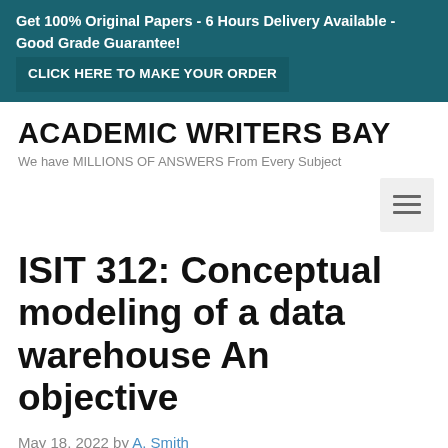Get 100% Original Papers - 6 Hours Delivery Available - Good Grade Guarantee! CLICK HERE TO MAKE YOUR ORDER
ACADEMIC WRITERS BAY
We have MILLIONS OF ANSWERS From Every Subject
[Figure (other): Hamburger navigation menu icon (three horizontal lines)]
ISIT 312: Conceptual modeling of a data warehouse An objective
May 18, 2022 by A. Smith